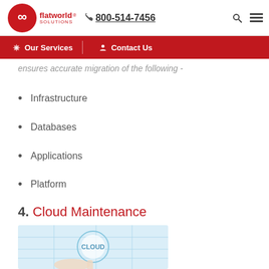flatworld solutions | 800-514-7456
Our Services | Contact Us
ensures accurate migration of the following -
Infrastructure
Databases
Applications
Platform
4. Cloud Maintenance
[Figure (photo): Person pointing at a tablet/paper showing a cloud computing diagram with 'CLOUD' text and circuit-like network graphics]